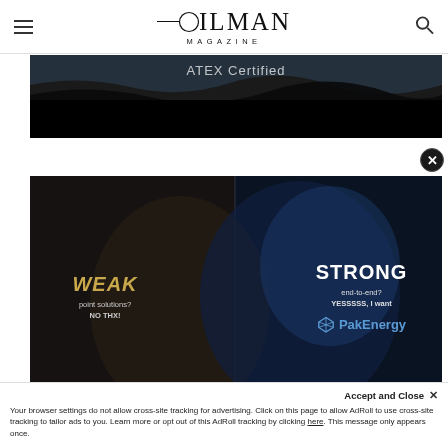OILMAN MAGAZINE
[Figure (photo): Dark advertisement banner with text 'ATEX Certified' on a dark wave/water background]
[Figure (photo): PakEnergy advertisement showing split wolf image (weak white wolf vs strong blue wolf) with text: WEAK point solutions? NO THX! | STRONG end-to-end? YESSSSS, I want - PakEnergy]
Accept and Close ✕
Your browser settings do not allow cross-site tracking for advertising. Click on this page to allow AdRoll to use cross-site tracking to tailor ads to you. Learn more or opt out of this AdRoll tracking by clicking here. This message only appears once.